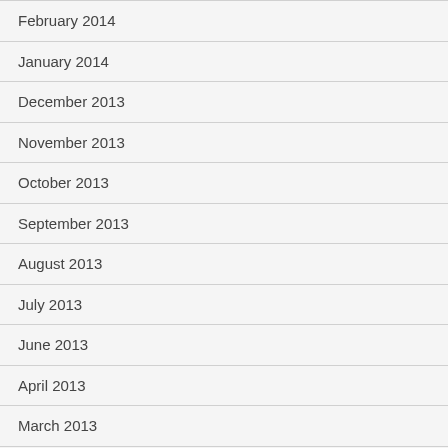February 2014
January 2014
December 2013
November 2013
October 2013
September 2013
August 2013
July 2013
June 2013
April 2013
March 2013
February 2013
January 2013
December 2012